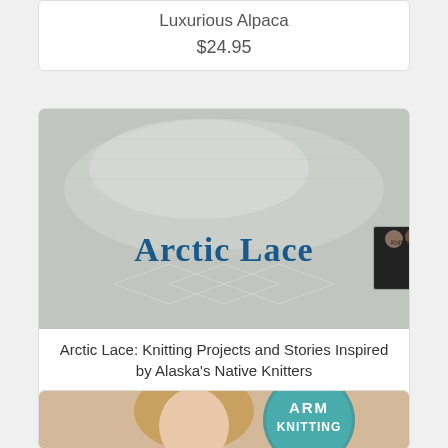Luxurious Alpaca
$24.95
[Figure (photo): Book cover of Arctic Lace: Knitting Projects and Stories Inspired by Alaska's Native Knitters, showing a gray lace knitted fabric and a small photo of three people knitting]
Arctic Lace: Knitting Projects and Stories Inspired by Alaska's Native Knitters
$26.95
[Figure (photo): Partial book cover of Arm Knitting book, showing a woman with blonde hair and teal circular badge with ARM KNITTING text]